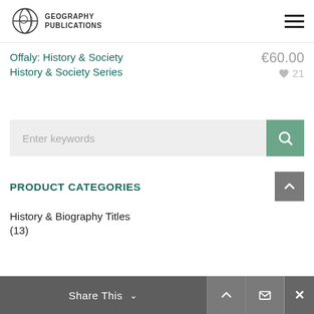Geography Publications
Offaly: History & Society
History & Society Series
€60.00
♥ 21
Enter keywords
PRODUCT CATEGORIES
History & Biography Titles (13)
Share This ∨